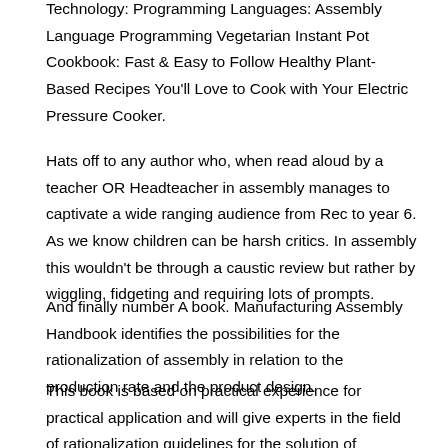Technology: Programming Languages: Assembly Language Programming Vegetarian Instant Pot Cookbook: Fast & Easy to Follow Healthy Plant-Based Recipes You'll Love to Cook with Your Electric Pressure Cooker.
Hats off to any author who, when read aloud by a teacher OR Headteacher in assembly manages to captivate a wide ranging audience from Rec to year 6. As we know children can be harsh critics. In assembly this wouldn't be through a caustic review but rather by wiggling, fidgeting and requiring lots of prompts.
And finally number A book. Manufacturing Assembly Handbook identifies the possibilities for the rationalization of assembly in relation to the production rate and the product design.
This book is based on practical experience for practical application and will give experts in the field of rationalization guidelines for the solution of rationalization problems. Roger Wagner's Assembly Lines articles originally Assembly Chains book in Softalk magazine from October to June The first fifteen articles were reprinted in in Assembly Lines: The Book.